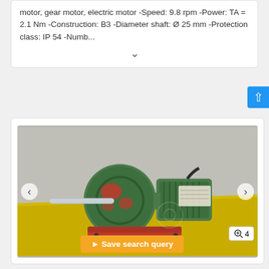motor, gear motor, electric motor -Speed: 9.8 rpm -Power: TA = 2.1 Nm -Construction: B3 -Diameter shaft: Ø 25 mm -Protection class: IP 54 -Numb...
[Figure (photo): Photograph of a green industrial gear motor with shaft and mounting base on a yellow surface, with navigation arrows and save search query button overlay]